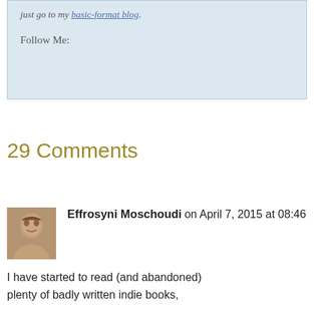just go to my basic-format blog.
Follow Me:
29 Comments
Effrosyni Moschoudi on April 7, 2015 at 08:46
I have started to read (and abandoned) plenty of badly written indie books,